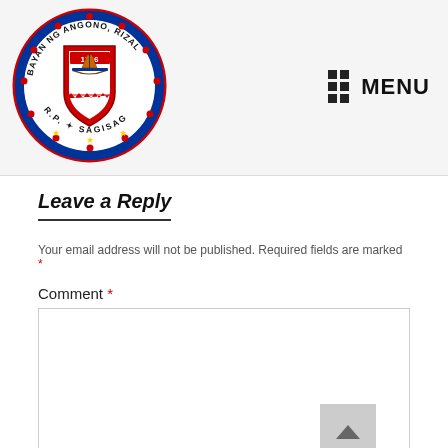[Figure (logo): Official seal of Lalawigan ng Angono, Rizal, R.P. — circular seal with red shield, ship imagery, year 1766, stars, and text around the border reading BAYAN NG ANGONO, RIZAL, R.P. and SAGISAG]
Leave a Reply
Your email address will not be published. Required fields are marked *
Comment *
Name *